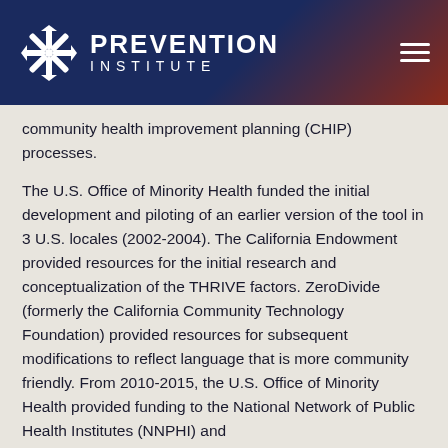[Figure (logo): Prevention Institute logo with snowflake/asterisk icon and hamburger menu on dark gradient header bar]
community health improvement planning (CHIP) processes.
The U.S. Office of Minority Health funded the initial development and piloting of an earlier version of the tool in 3 U.S. locales (2002-2004). The California Endowment provided resources for the initial research and conceptualization of the THRIVE factors. ZeroDivide (formerly the California Community Technology Foundation) provided resources for subsequent modifications to reflect language that is more community friendly. From 2010-2015, the U.S. Office of Minority Health provided funding to the National Network of Public Health Institutes (NNPHI) and